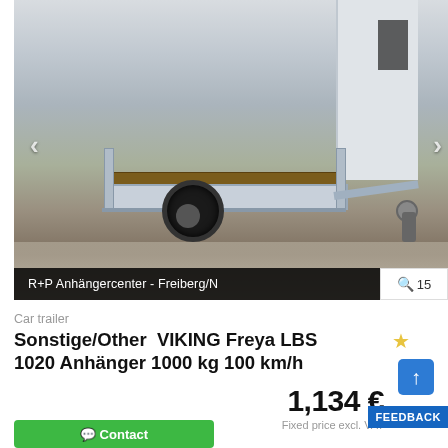[Figure (photo): Photo of a silver galvanized single-axle car trailer (VIKING Freya LBS 1020) with wooden bed, parked on brick pavement in front of a building. Navigation arrows visible on left and right sides of image.]
R+P Anhängercenter - Freiberg/N
🔍 15
Car trailer
Sonstige/Other  VIKING Freya LBS 1020 Anhänger 1000 kg 100 km/h
1,134 €
Fixed price excl. VAT